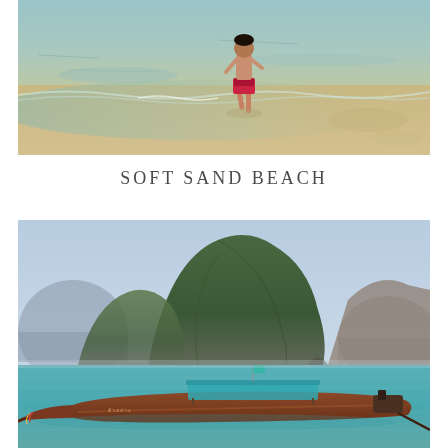[Figure (photo): A young boy in swim trunks wading through shallow clear water at a beach, with wet sand and gentle waves visible.]
SOFT SAND BEACH
[Figure (photo): A traditional Thai longtail boat moored in turquoise water with dramatic limestone karst islands rising in the background under a hazy blue sky.]